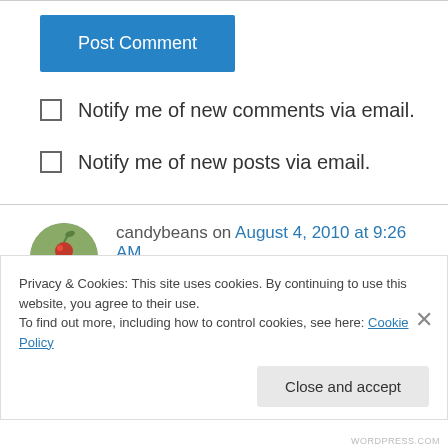Post Comment
Notify me of new comments via email.
Notify me of new posts via email.
candybeans on August 4, 2010 at 9:26 AM
thank you, so very much, for sharing this with the world. there are no words for how delightful and
Privacy & Cookies: This site uses cookies. By continuing to use this website, you agree to their use.
To find out more, including how to control cookies, see here: Cookie Policy
Close and accept
WORDPRESS.COM